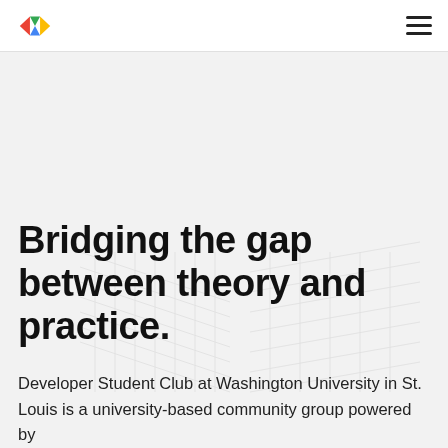Developer Student Club logo and navigation menu
Bridging the gap between theory and practice.
Developer Student Club at Washington University in St. Louis is a university-based community group powered by